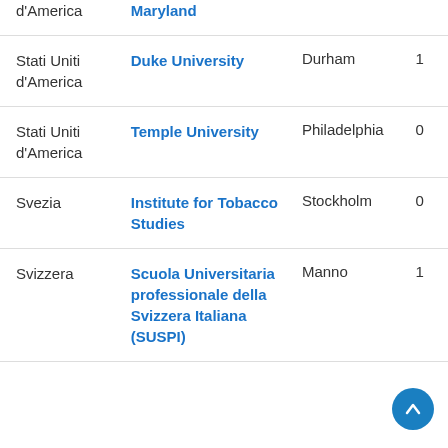| Paese | Istituzione | Città | N. |
| --- | --- | --- | --- |
| Stati Uniti d'America | Maryland |  |  |
| Stati Uniti d'America | Duke University | Durham | 1 |
| Stati Uniti d'America | Temple University | Philadelphia | 0 |
| Svezia | Institute for Tobacco Studies | Stockholm | 0 |
| Svizzera | Scuola Universitaria professionale della Svizzera Italiana (SUSPI) | Manno | 1 |